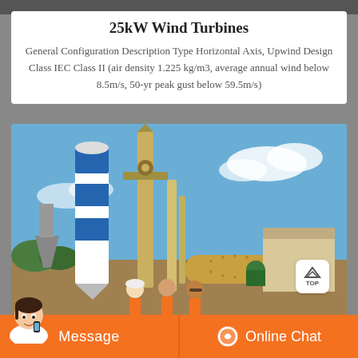25kW Wind Turbines
General Configuration Description Type Horizontal Axis, Upwind Design Class IEC Class II (air density 1.225 kg/m3, average annual wind below 8.5m/s, 50-yr peak gust below 59.5m/s)
[Figure (photo): Industrial facility with large blue and white cylindrical silo, tall structure, processing equipment including a horizontal cylindrical mill, and a beige building. Three workers in orange hi-vis vests standing in foreground.]
Message
Online Chat